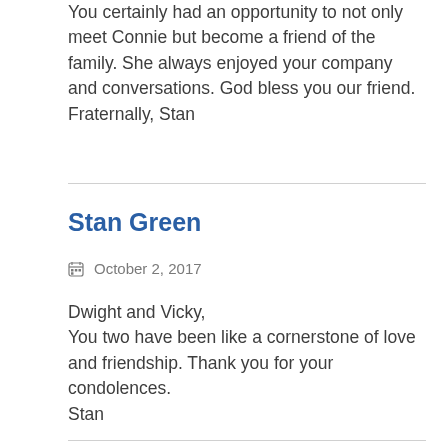You certainly had an opportunity to not only meet Connie but become a friend of the family. She always enjoyed your company and conversations. God bless you our friend. Fraternally, Stan
Stan Green
October 2, 2017
Dwight and Vicky,
You two have been like a cornerstone of love and friendship. Thank you for your condolences.
Stan